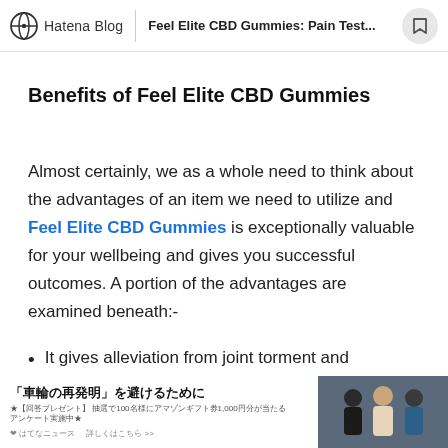Hatena Blog | Feel Elite CBD Gummies: Pain Test...
Benefits of Feel Elite CBD Gummies
Almost certainly, we as a whole need to think about the advantages of an item we need to utilize and Feel Elite CBD Gummies is exceptionally valuable for your wellbeing and gives you successful outcomes. A portion of the advantages are examined beneath:-
It gives alleviation from joint torment and persistent
[Figure (screenshot): Japanese advertisement banner for Hatena News survey with text '車輪の再発明」を避けるために' and an image of three people on the right side]